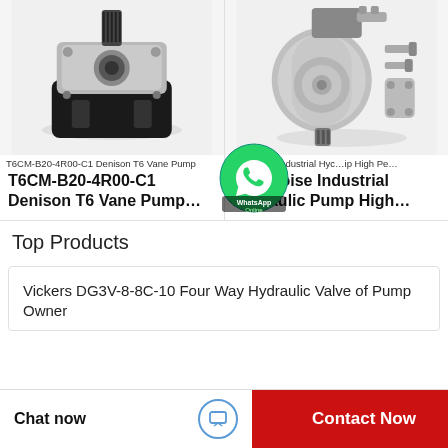[Figure (photo): T6CM-B20-4R00-C1 Denison T6 Vane Pump — silver/black hydraulic gear pump photo]
T6CM-B20-4R00-C1 Denison T6 Vane Pump
T6CM-B20-4R00-C1 Denison T6 Vane Pump…
[Figure (photo): Low Noise Industrial Hydraulic Pump High Performance — silver piston pump photo]
Low Noise Industrial Hyc… ip High Pe…
Low Noise Industrial Hydraulic Pump High…
[Figure (logo): WhatsApp Online button overlay — green circle with phone icon, text 'WhatsApp Online']
Top Products
Vickers DG3V-8-8C-10 Four Way Hydraulic Valve of Pump Owner
Chat now
Contact Now